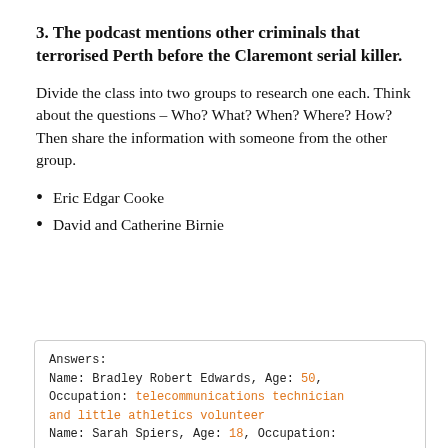3. The podcast mentions other criminals that terrorised Perth before the Claremont serial killer.
Divide the class into two groups to research one each. Think about the questions – Who? What? When? Where? How? Then share the information with someone from the other group.
Eric Edgar Cooke
David and Catherine Birnie
Answers:
Name: Bradley Robert Edwards, Age: 50, Occupation: telecommunications technician and little athletics volunteer
Name: Sarah Spiers, Age: 18, Occupation: